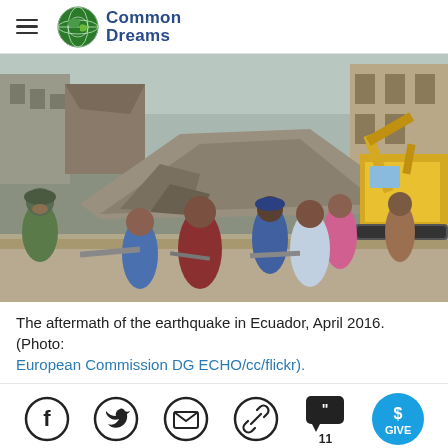Common Dreams
[Figure (photo): Aftermath of the earthquake in Ecuador, April 2016. People and soldiers stand amid rubble and destroyed buildings. A large yellow excavator is visible on the right. Debris and collapsed structures fill the scene.]
The aftermath of the earthquake in Ecuador, April 2016. (Photo: European Commission DG ECHO/cc/flickr).
[Figure (infographic): Social sharing bar with icons for Facebook, Twitter, email, link/copy, comments (11), and a GIVE button in blue circle.]